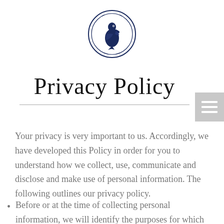[Figure (logo): Pelican bird logo inside a double circle, dark navy blue, centered at top of page]
Privacy Policy
Your privacy is very important to us. Accordingly, we have developed this Policy in order for you to understand how we collect, use, communicate and disclose and make use of personal information. The following outlines our privacy policy.
Before or at the time of collecting personal information, we will identify the purposes for which information is